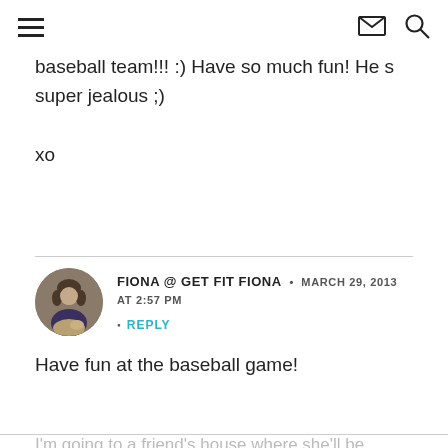navigation header with hamburger menu, envelope icon, and search icon
baseball team!!! :) Have so much fun! He s super jealous ;)

xo
FIONA @ GET FIT FIONA • MARCH 29, 2013 AT 2:57 PM
REPLY
Have fun at the baseball game!
I'm going to a friend's house where she'll be making homemade pizza...